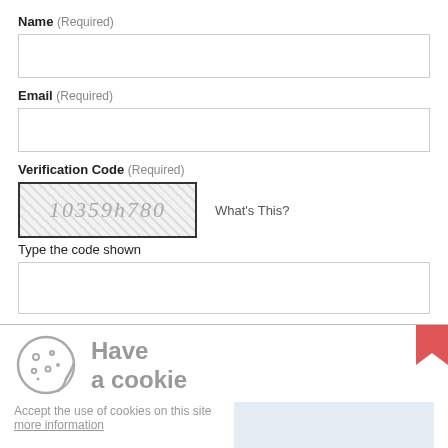Name (Required)
Email (Required)
Verification Code (Required)
[Figure (other): CAPTCHA image showing text '10359h780' on a crosshatch patterned background]
What's This?
Type the code shown
Have a cookie
Accept the use of cookies on this site more information
I Accept